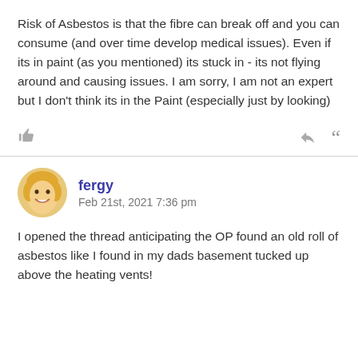Risk of Asbestos is that the fibre can break off and you can consume (and over time develop medical issues). Even if its in paint (as you mentioned) its stuck in - its not flying around and causing issues. I am sorry, I am not an expert but I don't think its in the Paint (especially just by looking)
fergy
Feb 21st, 2021 7:36 pm
I opened the thread anticipating the OP found an old roll of asbestos like I found in my dads basement tucked up above the heating vents!